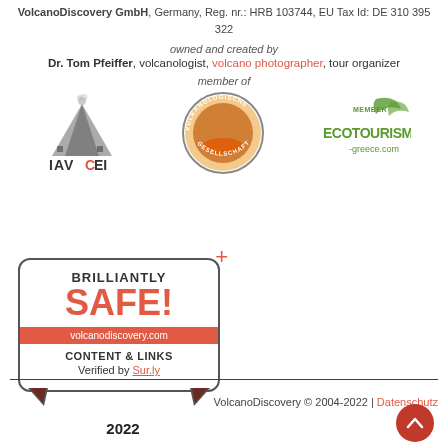VolcanoDiscovery GmbH, Germany, Reg. nr.: HRB 103744, EU Tax Id: DE 310 395 322
owned and created by
Dr. Tom Pfeiffer, volcanologist, volcano photographer, tour organizer
member of
[Figure (logo): IAVCEI logo with volcano silhouette]
[Figure (logo): Vulkanologische Gesellschaft e.V. circular logo]
[Figure (logo): Member Ecotourism Greece logo]
[Figure (infographic): Brilliantly SAFE! badge with volcanodiscovery.com content and links verified by Sur.ly, 2022]
VolcanoDiscovery © 2004-2022 | Datenschutz